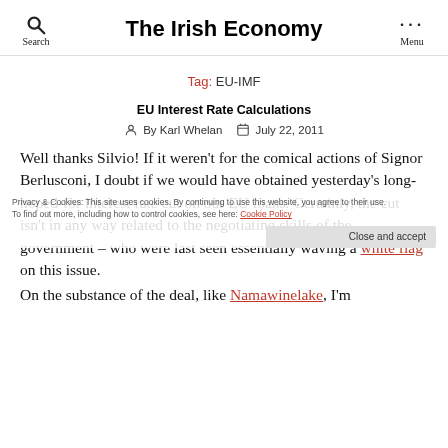The Irish Economy
Tag: EU-IMF
EU Interest Rate Calculations
By Karl Whelan   July 22, 2011
Well thanks Silvio! If it weren't for the comical actions of Signor Berlusconi, I doubt if we would have obtained yesterday's long-hoped-for interest rate cut on our EU loans. Certainly, the cut isn't in any way related to the negotiating skills of the government – who were last seen essentially waving a white flag on this issue.
On the substance of the deal, like Namawinelake, I'm